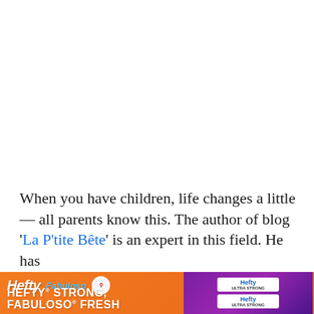When you have children, life changes a little — all parents know this. The author of blog 'La P'tite Bête' is an expert in this field. He has
[Figure (other): Hefty and Fabuloso advertisement banner with orange background. Shows Hefty logo, Fabuloso logo, Arm & Hammer logo, text 'HEFTY STRONG, FABULOSO FRESH', and product images of Hefty trash bags on the right side.]